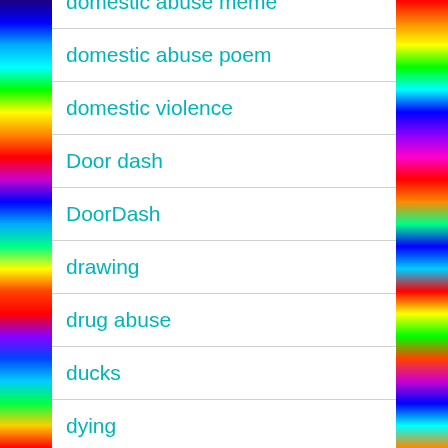domestic abuse meme
domestic abuse poem
domestic violence
Door dash
DoorDash
drawing
drug abuse
ducks
dying